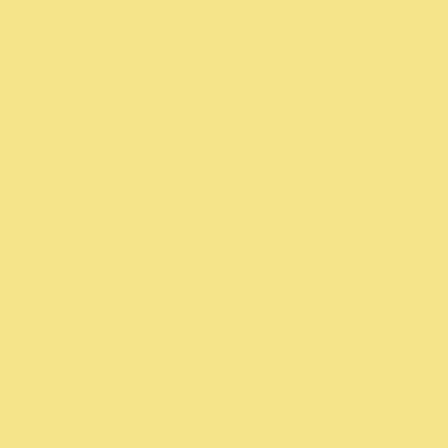(Keats, Shelly, Byron) and his new c (Swinburne and the Rosetti's) 8^)
Tim Powers writes great supernatural explanations.
Posted by: KeithB | Monday, 21 January 2013 at 09:17
http://thehistoryofrome.typepad.com
This podcast goes from the beginning Empire in around 190 episodes. Each
A lot of great stuff here.
Posted by: psu | Monday, 21 January 2013 at 09:19 PM
If memory serves me right Mike, yo Leaves of Grass (which I too enjoy) president of the US to a certain Whit Best, Ed.